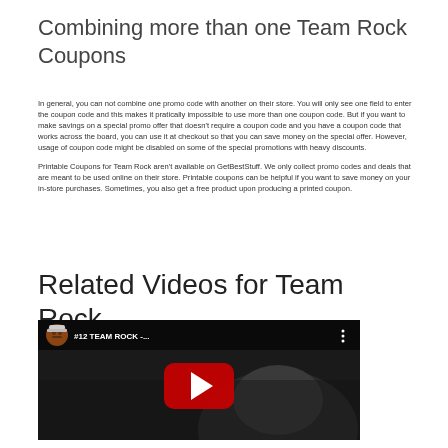Combining more than one Team Rock Coupons
In general, you can not combine one promo code with another on their store. You will only see one field to enter the coupon code and this makes it pratically impossible to use more than one coupon code. But if you want to make savings on a special promo offer that doesn't require a coupon code and you have a coupon code that works across the board, you can use it at checkout so that you can save money on the special offer. However, usage of coupon code might be disabled on some of the special promotions with heavy discounts.
Printable Coupons for Team Rock aren't available on GetBestStuff. We only collect promo codes and deals that are meant to be used online on their store. Printable coupons can be helpful if you want to save money on your in-store purchases. Sometimes, you also get a free product upon producing a printed coupon.
Related Videos for Team Rock
[Figure (screenshot): YouTube video thumbnail showing '#12 TEAM ROCK -...' with a play button overlay and dark background]